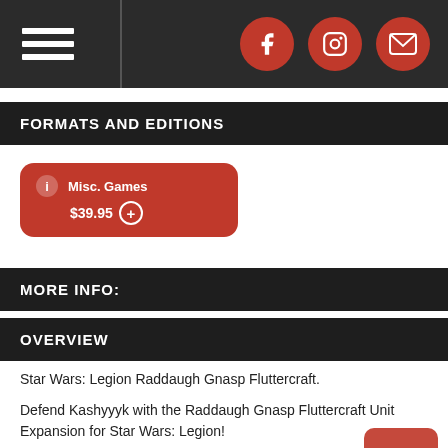Navigation bar with hamburger menu and social icons (Facebook, Instagram, Email)
FORMATS AND EDITIONS
Misc. Games $39.95
MORE INFO:
OVERVIEW
Star Wars: Legion Raddaugh Gnasp Fluttercraft.
Defend Kashyyyk with the Raddaugh Gnasp Fluttercraft Unit Expansion for Star Wars: Legion!
A compact scout craft used to patrol the dense wroshyr forests of Kashyyyk, this fluttercraft is fast, deadly, and packs a nasty sting.